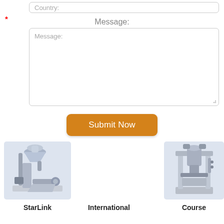Country:
*
Message:
Message:
Submit Now
[Figure (photo): Industrial milling/grinding machine with hopper and conveyor components, light blue background]
[Figure (photo): Industrial hydraulic oil press machine, stainless steel, light blue background]
StarLink
International
Course